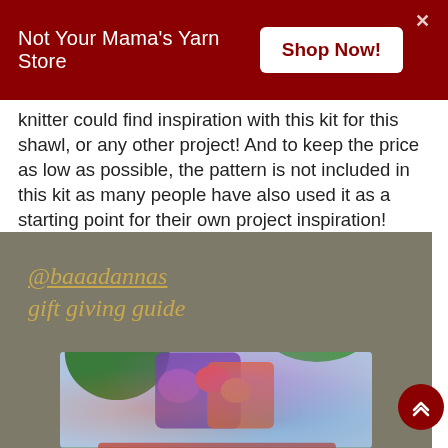Not Your Mama's Yarn Store  Shop Now!
knitter could find inspiration with this kit for this shawl, or any other project! And to keep the price as low as possible, the pattern is not included in this kit as many people have also used it as a starting point for their own project inspiration! BUY HERE.
[Figure (photo): Photo with overlay text '@baaadannas gift giving guide' showing yarn skeins and knitted fabric outdoors in a garden setting.]